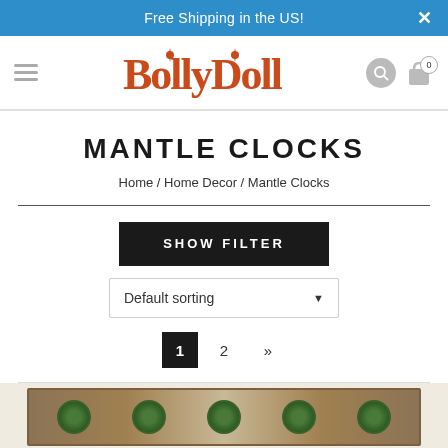Free Shipping in the US!
[Figure (logo): BollyDoll logo in orange/red stylized font with decorative elements]
MANTLE CLOCKS
Home / Home Decor / Mantle Clocks
SHOW FILTER
Default sorting
1  2  »
[Figure (photo): Partial view of a mantle clock product with wooden frame and green decorative clock faces]